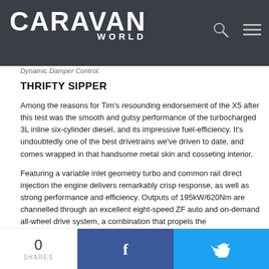CARAVAN WORLD
Dynamic Damper Control.
THRIFTY SIPPER
Among the reasons for Tim's resounding endorsement of the X5 after this test was the smooth and gutsy performance of the turbocharged 3L inline six-cylinder diesel, and its impressive fuel-efficiency. It's undoubtedly one of the best drivetrains we've driven to date, and comes wrapped in that handsome metal skin and cosseting interior.
Featuring a variable inlet geometry turbo and common rail direct injection the engine delivers remarkably crisp response, as well as strong performance and efficiency. Outputs of 195kW/620Nm are channelled through an excellent eight-speed ZF auto and on-demand all-wheel drive system, a combination that propels the
0 SHARES